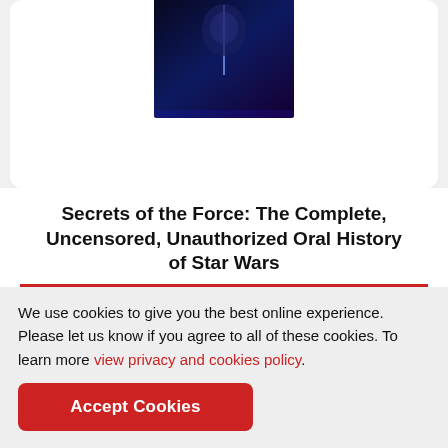[Figure (photo): Book cover of 'Secrets of the Force' by Edward Gross and Mark A. Altman, dark blue/purple sci-fi cover with a face and light beam]
Secrets of the Force: The Complete, Uncensored, Unauthorized Oral History of Star Wars
We use cookies to give you the best online experience. Please let us know if you agree to all of these cookies. To learn more view privacy and cookies policy.